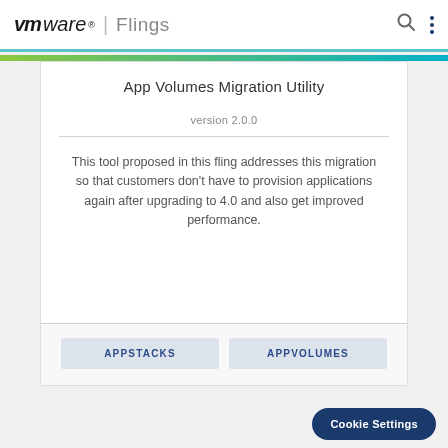VMware Flings
App Volumes Migration Utility
version 2.0.0
This tool proposed in this fling addresses this migration so that customers don't have to provision applications again after upgrading to 4.0 and also get improved performance.
APPSTACKS
APPVOLUMES
Cookie Settings